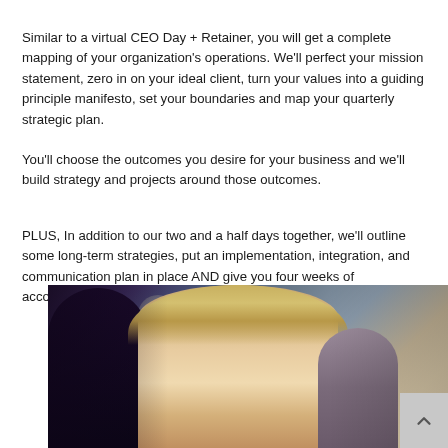Similar to a virtual CEO Day + Retainer, you will get a complete mapping of your organization's operations. We'll perfect your mission statement, zero in on your ideal client, turn your values into a guiding principle manifesto, set your boundaries and map your quarterly strategic plan.
You'll choose the outcomes you desire for your business and we'll build strategy and projects around those outcomes.
PLUS, In addition to our two and a half days together, we'll outline some long-term strategies, put an implementation, integration, and communication plan in place AND give you four weeks of accountability follow up.
[Figure (photo): Photo of people socializing, showing faces of women with bokeh lights in background]